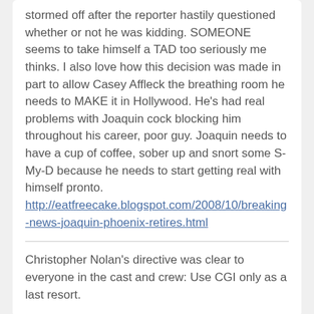stormed off after the reporter hastily questioned whether or not he was kidding. SOMEONE seems to take himself a TAD too seriously me thinks. I also love how this decision was made in part to allow Casey Affleck the breathing room he needs to MAKE it in Hollywood. He's had real problems with Joaquin cock blocking him throughout his career, poor guy. Joaquin needs to have a cup of coffee, sober up and snort some S-My-D because he needs to start getting real with himself pronto. http://eatfreecake.blogspot.com/2008/10/breaking-news-joaquin-phoenix-retires.html
Christopher Nolan's directive was clear to everyone in the cast and crew: Use CGI only as a last resort.
Stefen